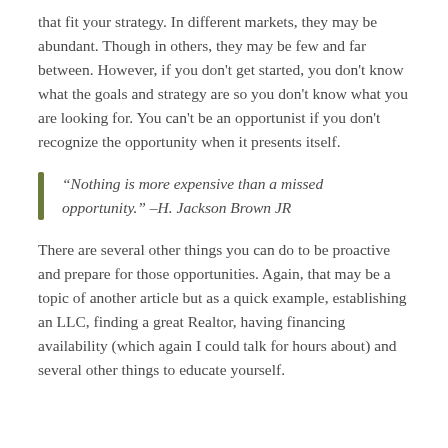that fit your strategy. In different markets, they may be abundant. Though in others, they may be few and far between. However, if you don't get started, you don't know what the goals and strategy are so you don't know what you are looking for. You can't be an opportunist if you don't recognize the opportunity when it presents itself.
“Nothing is more expensive than a missed opportunity.” –H. Jackson Brown JR
There are several other things you can do to be proactive and prepare for those opportunities. Again, that may be a topic of another article but as a quick example, establishing an LLC, finding a great Realtor, having financing availability (which again I could talk for hours about) and several other things to educate yourself.